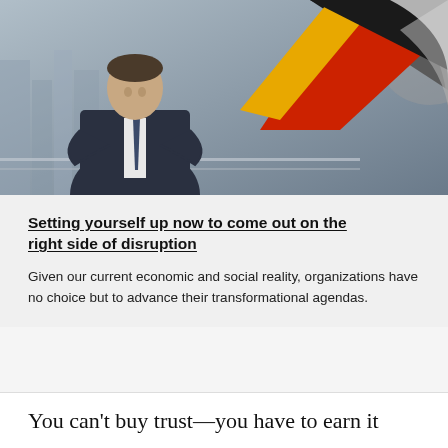[Figure (photo): A man in a dark business suit with arms crossed standing on a rooftop or balcony with a city skyline behind him, overlaid with geometric shapes (black triangles, red ribbon/arrow, yellow triangle, gray arc) in the upper right corner.]
Setting yourself up now to come out on the right side of disruption
Given our current economic and social reality, organizations have no choice but to advance their transformational agendas.
You can’t buy trust—you have to earn it